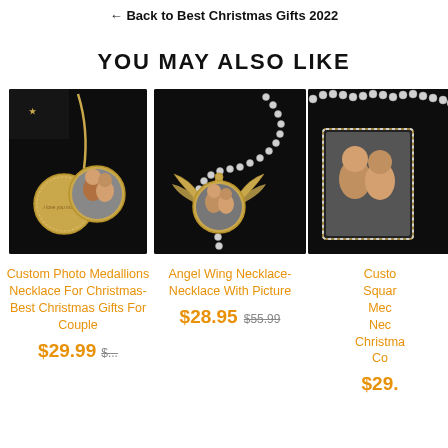← Back to Best Christmas Gifts 2022
YOU MAY ALSO LIKE
[Figure (photo): Photo of Custom Photo Medallions Necklace on dark background with a couple photo]
Custom Photo Medallions Necklace For Christmas- Best Christmas Gifts For Couple
$29.99 (partially visible)
[Figure (photo): Photo of Angel Wing Necklace with rhinestone chain and couple photo on dark background]
Angel Wing Necklace- Necklace With Picture
$28.95  $55.99
[Figure (photo): Partially visible photo of Custom Square Medallion Necklace on dark background]
Custom Square Medallion Necklace For Christmas- Co... (partially visible)
$... (partially visible)